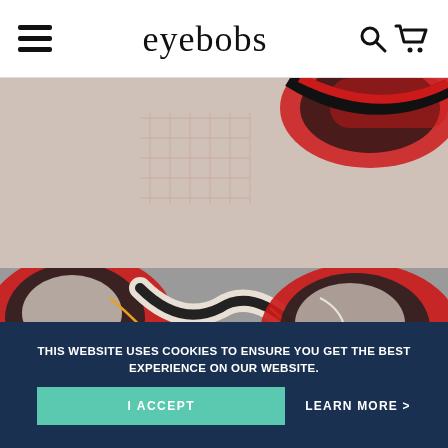eyebobs
[Figure (photo): Close-up photo of colorful eyeglasses frames in red, black, and white against a gray background, with a pinkish background section in the upper portion showing decorative grid lines.]
THIS WEBSITE USES COOKIES TO ENSURE YOU GET THE BEST EXPERIENCE ON OUR WEBSITE.
I ACCEPT
LEARN MORE >